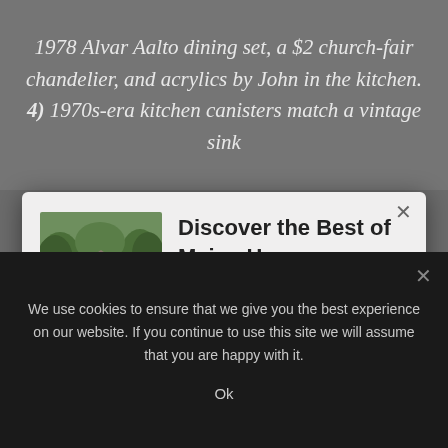1978 Alvar Aalto dining set, a $2 church-fair chandelier, and acrylics by John in the kitchen. 4) 1970s-era kitchen canisters match a vintage sink
Discover the Best of Maine Homes
[Figure (photo): Exterior photo of a white Maine home with trees in the background]
Each week we round-up our favorite homes, decor tips, and property listings for our Maine Homes Newsletter. Sign-up now and get the best of Maine Homes in your inbox.
We use cookies to ensure that we give you the best experience on our website. If you continue to use this site we will assume that you are happy with it.
Ok